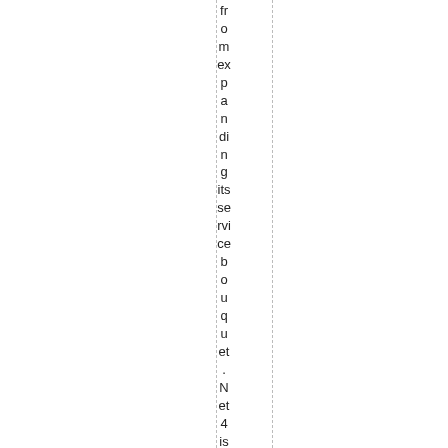from expanding its service bouquet. Net 4 is also setting